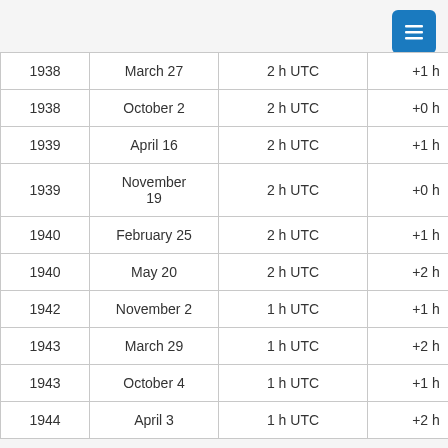| 1938 | March 27 | 2 h UTC | +1 h |
| 1938 | October 2 | 2 h UTC | +0 h |
| 1939 | April 16 | 2 h UTC | +1 h |
| 1939 | November 19 | 2 h UTC | +0 h |
| 1940 | February 25 | 2 h UTC | +1 h |
| 1940 | May 20 | 2 h UTC | +2 h |
| 1942 | November 2 | 1 h UTC | +1 h |
| 1943 | March 29 | 1 h UTC | +2 h |
| 1943 | October 4 | 1 h UTC | +1 h |
| 1944 | April 3 | 1 h UTC | +2 h |